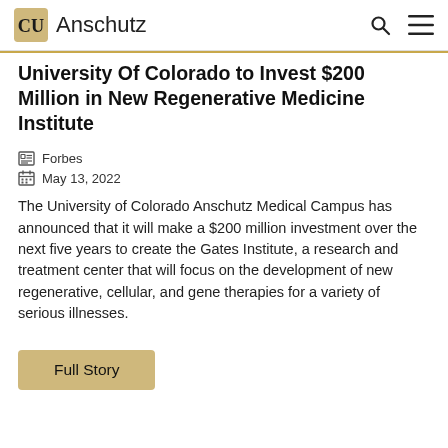CU Anschutz
University Of Colorado to Invest $200 Million in New Regenerative Medicine Institute
Forbes
May 13, 2022
The University of Colorado Anschutz Medical Campus has announced that it will make a $200 million investment over the next five years to create the Gates Institute, a research and treatment center that will focus on the development of new regenerative, cellular, and gene therapies for a variety of serious illnesses.
Full Story